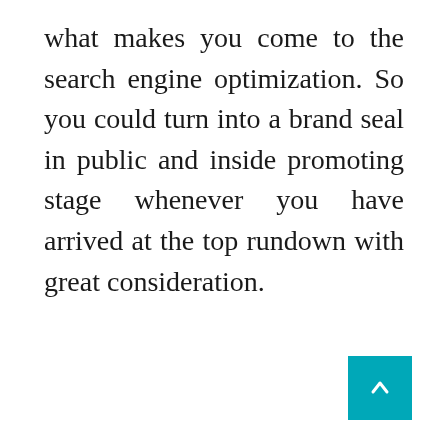what makes you come to the search engine optimization. So you could turn into a brand seal in public and inside promoting stage whenever you have arrived at the top rundown with great consideration.
[Figure (other): Teal/cyan square button with a white upward-pointing arrow, positioned at the bottom-right corner of the page.]